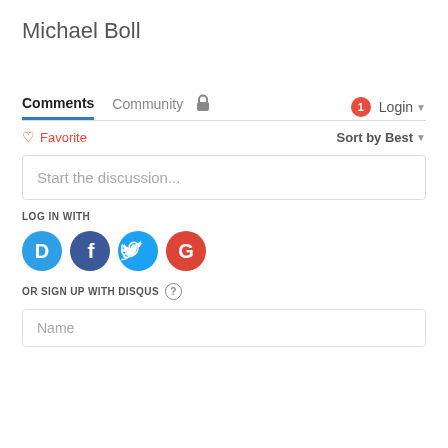Michael Boll
Comments | Community | Login (1 notification) | Sort by Best
♡ Favorite
Sort by Best
Start the discussion...
LOG IN WITH
[Figure (other): Social login icons: Disqus (blue D), Facebook (dark blue f), Twitter (light blue bird), Google (red G)]
OR SIGN UP WITH DISQUS ?
Name